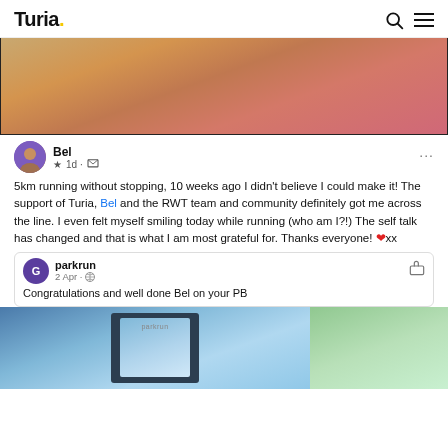Turia.
[Figure (photo): Close-up photo of a person with long reddish-brown hair wearing a pink top, taken outdoors on grass]
Bel
★ 1d · [icon]
5km running without stopping, 10 weeks ago I didn't believe I could make it! The support of Turia, Bel and the RWT team and community definitely got me across the line. I even felt myself smiling today while running (who am I?!) The self talk has changed and that is what I am most grateful for. Thanks everyone! ❤️xx
parkrun
2 Apr · [globe icon]
Congratulations and well done Bel on your PB
[Figure (photo): Parkrun photo frame with parkrun logo visible, showing a person in the background with outdoor scenery including trees and sky]